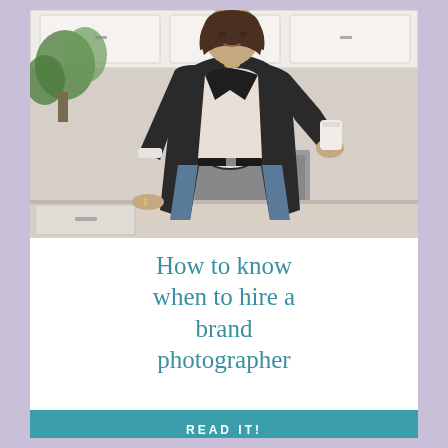[Figure (photo): A woman in a black blazer and white blouse standing in a modern kitchen, holding a white cup, leaning against a marble countertop with a plant in the background.]
How to know when to hire a brand photographer
READ IT!